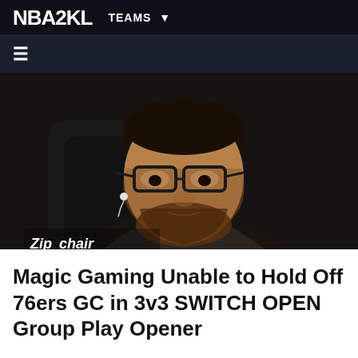NBA2KL  TEAMS
[Figure (screenshot): NBA 2K League website header navigation bar with NBA2KL logo and TEAMS dropdown]
[Figure (photo): A male esports player with dark hair, glasses, and a beard wearing an in-ear monitor, seated in a Zipchair Gaming gaming chair. He is looking downward with a focused expression. The Zipchair Gaming logo is visible on the chair.]
Magic Gaming Unable to Hold Off 76ers GC in 3v3 SWITCH OPEN Group Play Opener